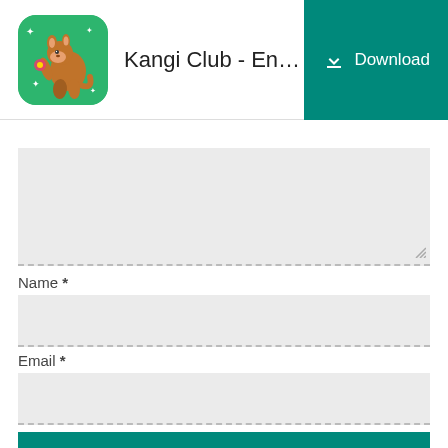Kangi Club - English For ...
Name *
Email *
Post Comment
We use cookies to improve your experience on our website. By using this site you agree to our use of cookies. Learn more